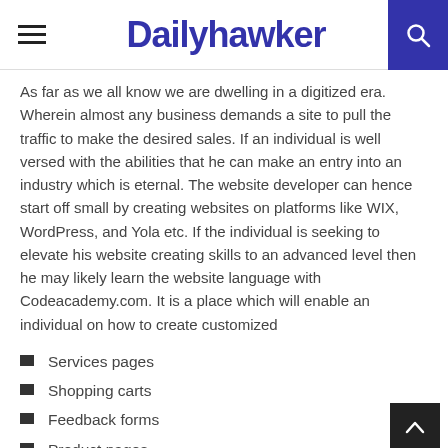Dailyhawker
As far as we all know we are dwelling in a digitized era. Wherein almost any business demands a site to pull the traffic to make the desired sales. If an individual is well versed with the abilities that he can make an entry into an industry which is eternal. The website developer can hence start off small by creating websites on platforms like WIX, WordPress, and Yola etc. If the individual is seeking to elevate his website creating skills to an advanced level then he may likely learn the website language with Codeacademy.com. It is a place which will enable an individual on how to create customized
Services pages
Shopping carts
Feedback forms
Product pages